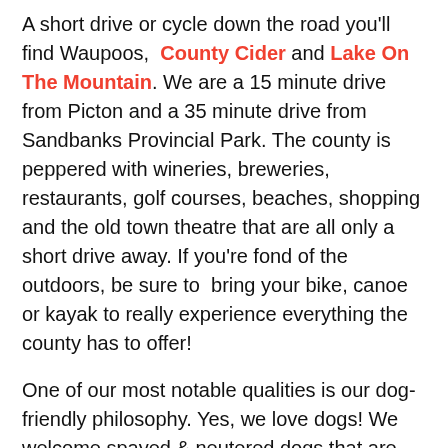A short drive or cycle down the road you'll find Waupoos, County Cider and Lake On The Mountain. We are a 15 minute drive from Picton and a 35 minute drive from Sandbanks Provincial Park. The county is peppered with wineries, breweries, restaurants, golf courses, beaches, shopping and the old town theatre that are all only a short drive away. If you're fond of the outdoors, be sure to  bring your bike, canoe or kayak to really experience everything the county has to offer!
One of our most notable qualities is our dog-friendly philosophy. Yes, we love dogs! We welcome spayed & neutered dogs that are well socialized! While you are out adventuring across the county, you can have peace of mind knowing that your furry-friends are safe and taken care of at